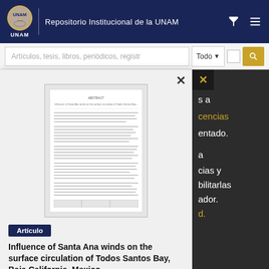Repositorio Institucional de la UNAM
Artículos, tesis, libros, periódicos, registros
[Figure (screenshot): Thumbnail preview of a scientific paper document]
Artículo
Influence of Santa Ana winds on the surface circulation of Todos Santos Bay, Baja California, Mexico
Navarro Olache, Luis Felipe; Castro, Rubén; Duraza, Reginaldo; Hernández...
Otros contenidos